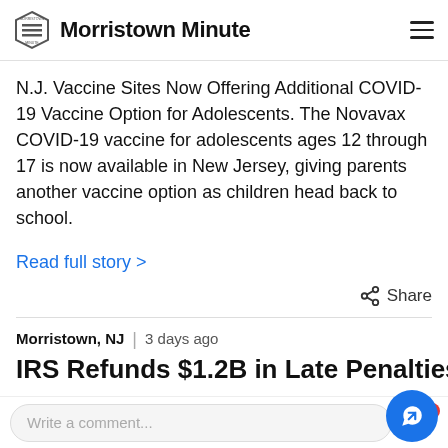Morristown Minute
N.J. Vaccine Sites Now Offering Additional COVID-19 Vaccine Option for Adolescents. The Novavax COVID-19 vaccine for adolescents ages 12 through 17 is now available in New Jersey, giving parents another vaccine option as children head back to school.
Read full story >
Share
Morristown, NJ  3 days ago
IRS Refunds $1.2B in Late Penalties